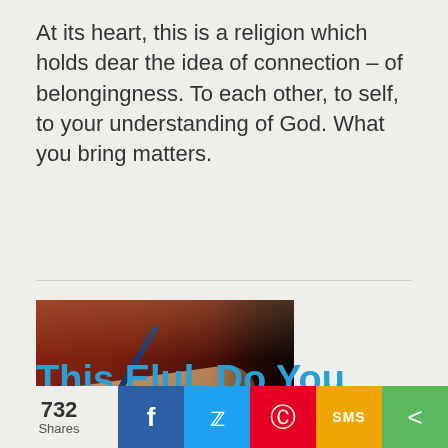At its heart, this is a religion which holds dear the idea of connection – of belongingness. To each other, to self, to your understanding of God. What you bring matters.
[Figure (photo): Close-up photograph of hands writing in a small notebook with a blue pen, dark warm-toned background with red and brown tones.]
This Elul, Do You Know Your
732 Shares | Facebook | Twitter | Pinterest | SMS | Share